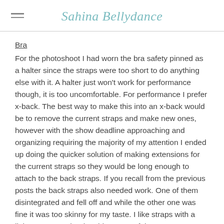Sahina Bellydance
Bra
For the photoshoot I had worn the bra safety pinned as a halter since the straps were too short to do anything else with it. A halter just won't work for performance though, it is too uncomfortable. For performance I prefer x-back. The best way to make this into an x-back would be to remove the current straps and make new ones, however with the show deadline approaching and organizing requiring the majority of my attention I ended up doing the quicker solution of making extensions for the current straps so they would be long enough to attach to the back straps. If you recall from the previous posts the back straps also needed work. One of them disintegrated and fell off and while the other one was fine it was too skinny for my taste. I like straps with a little more oomph. The side straps of the